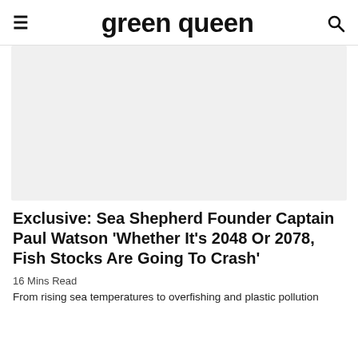green queen
[Figure (photo): Hero image placeholder — light grey rectangle representing an article photo]
Exclusive: Sea Shepherd Founder Captain Paul Watson 'Whether It's 2048 Or 2078, Fish Stocks Are Going To Crash'
16 Mins Read
From rising sea temperatures to overfishing and plastic pollution